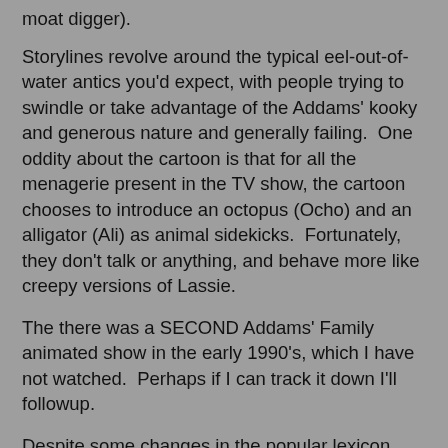moat digger).
Storylines revolve around the typical eel-out-of-water antics you'd expect, with people trying to swindle or take advantage of the Addams' kooky and generous nature and generally failing.  One oddity about the cartoon is that for all the menagerie present in the TV show, the cartoon chooses to introduce an octopus (Ocho) and an alligator (Ali) as animal sidekicks.  Fortunately, they don't talk or anything, and behave more like creepy versions of Lassie.
The there was a SECOND Addams' Family animated show in the early 1990's, which I have not watched.  Perhaps if I can track it down I'll followup.
Despite some changes in the popular lexicon and the absence of cell phones and computers, the 1970's edition of the show holds up really really well.  I started watching it on Amazon on demand for this review, and it has temporarily taken place of pride in the evening rituals with my daughter as a great treat if she's been really good.  That's right - my techno-savvy 6 year clambers for a cartoon 7 years older